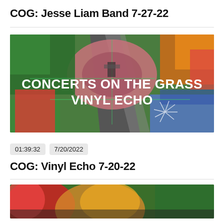COG: Jesse Liam Band 7-27-22
[Figure (photo): Aerial drone view of a circular outdoor concert venue surrounded by colorful autumn trees, with text overlay reading 'CONCERTS ON THE GRASS VINYL ECHO']
01:39:32  7/20/2022
COG: Vinyl Echo 7-20-22
[Figure (photo): Partial view of a colorful outdoor scene, partially cut off at bottom of page]